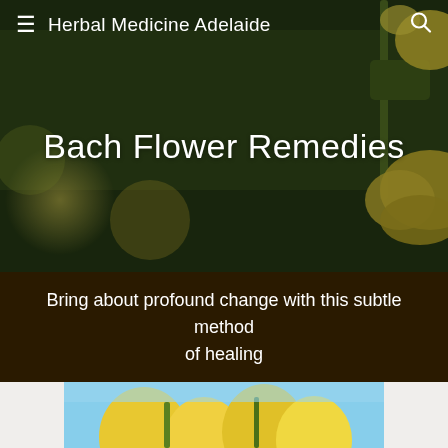Herbal Medicine Adelaide
Bach Flower Remedies
Bring about profound change with this subtle method of healing
[Figure (photo): Close-up photo of yellow flowers with blurred dark green background — hero banner for Bach Flower Remedies page]
[Figure (photo): Close-up photo of bright yellow flowers against a light blue sky — bottom image partially visible]